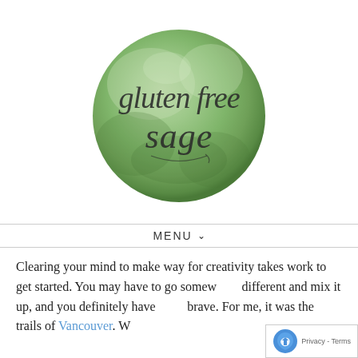[Figure (logo): Circular watercolor green logo with cursive text reading 'gluten free sage']
MENU ∨
Clearing your mind to make way for creativity takes work to get started. You may have to go somewhere different and mix it up, and you definitely have to be brave. For me, it was the trails of Vancouver. W...